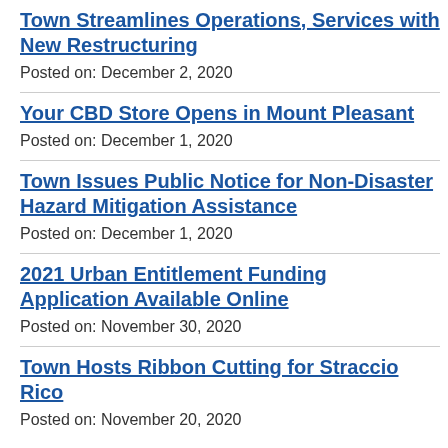Town Streamlines Operations, Services with New Restructuring
Posted on: December 2, 2020
Your CBD Store Opens in Mount Pleasant
Posted on: December 1, 2020
Town Issues Public Notice for Non-Disaster Hazard Mitigation Assistance
Posted on: December 1, 2020
2021 Urban Entitlement Funding Application Available Online
Posted on: November 30, 2020
Town Hosts Ribbon Cutting for Straccio Rico
Posted on: November 20, 2020